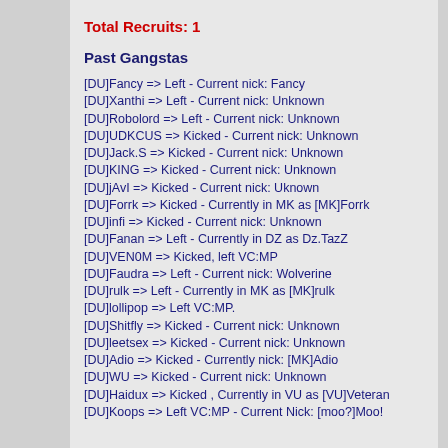Total Recruits: 1
Past Gangstas
[DU]Fancy => Left - Current nick: Fancy
[DU]Xanthi => Left - Current nick: Unknown
[DU]Robolord => Left - Current nick: Unknown
[DU]UDKCUS => Kicked - Current nick: Unknown
[DU]Jack.S => Kicked - Current nick: Unknown
[DU]KING => Kicked - Current nick: Unknown
[DU]jAvI => Kicked - Current nick: Uknown
[DU]Forrk => Kicked - Currently in MK as [MK]Forrk
[DU]infi => Kicked - Current nick: Unknown
[DU]Fanan => Left - Currently in DZ as Dz.TazZ
[DU]VEN0M => Kicked, left VC:MP
[DU]Faudra => Left - Current nick: Wolverine
[DU]rulk => Left - Currently in MK as [MK]rulk
[DU]lollipop => Left VC:MP.
[DU]Shitfly => Kicked - Current nick: Unknown
[DU]leetsex => Kicked - Current nick: Unknown
[DU]Adio => Kicked - Currently nick: [MK]Adio
[DU]WU => Kicked - Current nick: Unknown
[DU]Haidux => Kicked , Currently in VU as [VU]Veteran
[DU]Koops => Left VC:MP - Current Nick: [moo?]Moo!